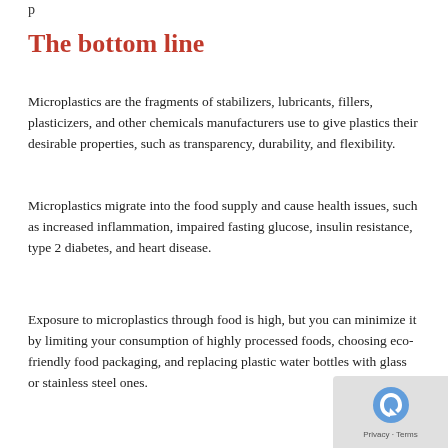p
The bottom line
Microplastics are the fragments of stabilizers, lubricants, fillers, plasticizers, and other chemicals manufacturers use to give plastics their desirable properties, such as transparency, durability, and flexibility.
Microplastics migrate into the food supply and cause health issues, such as increased inflammation, impaired fasting glucose, insulin resistance, type 2 diabetes, and heart disease.
Exposure to microplastics through food is high, but you can minimize it by limiting your consumption of highly processed foods, choosing eco-friendly food packaging, and replacing plastic water bottles with glass or stainless steel ones.